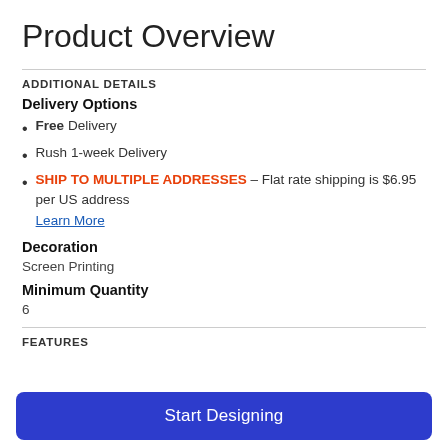Product Overview
ADDITIONAL DETAILS
Delivery Options
Free Delivery
Rush 1-week Delivery
SHIP TO MULTIPLE ADDRESSES – Flat rate shipping is $6.95 per US address
Learn More
Decoration
Screen Printing
Minimum Quantity
6
FEATURES
Start Designing